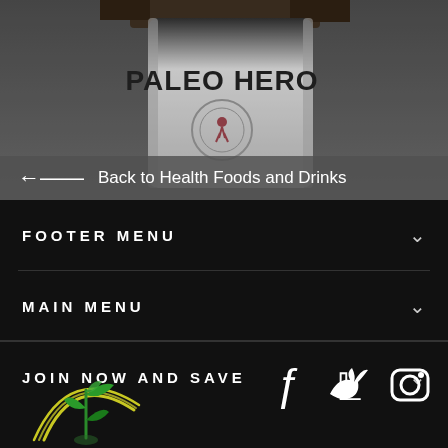[Figure (photo): Product photo of Paleo Hero branded packaging, shown from below with dark background, text PALEO HERO visible on white bag]
← Back to Health Foods and Drinks
FOOTER MENU
MAIN MENU
JOIN NOW AND SAVE
[Figure (logo): Green plant/seedling sprout logo with yellow arc lines, representing a health food brand]
[Figure (other): Social media icons: Facebook, Twitter, Instagram]